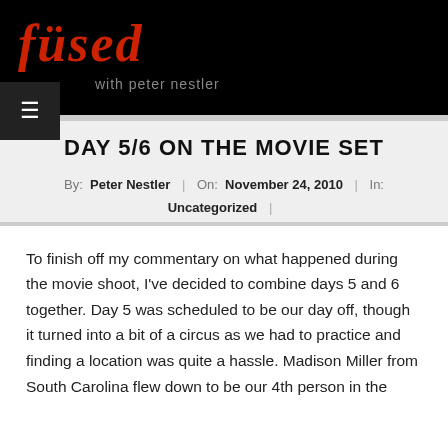[Figure (logo): Fused with Peter Nestler logo — red italic serif text 'füsed' on black background with gray subtitle 'with peter nestler']
DAY 5/6 ON THE MOVIE SET
By:  Peter Nestler  |  On:  November 24, 2010  |  In:  Uncategorized  |
To finish off my commentary on what happened during the movie shoot, I've decided to combine days 5 and 6 together. Day 5 was scheduled to be our day off, though it turned into a bit of a circus as we had to practice and finding a location was quite a hassle. Madison Miller from South Carolina flew down to be our 4th person in the